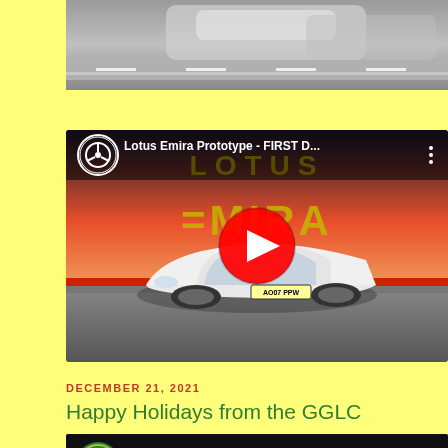[Figure (photo): Partial top image of car on race track, cut off at top of page]
[Figure (screenshot): YouTube video thumbnail for 'Lotus Emira Prototype - FIRST D...' showing white Lotus Emira car with plate AO07 PPW on a racetrack, with YouTube play button overlay and Lotus EMIRA branding]
DECEMBER 21, 2021
Happy Holidays from the GGLC
[Figure (screenshot): Partial YouTube video thumbnail for '2021 GGLC Holiday Video' with Lotus Club logo, partially visible at bottom of page]